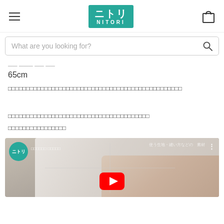Nitori navigation header with logo and cart icon
What are you looking for?
65cm
□□□□□□□□□□□□□□□□□□□□□□□□□□□□□□□□□□□□□□□□□□□□□□□□
□□□□□□□□□□□□□□□□□□□□□□□□□□□□□□□□□□□□□□
□□□□□□□□□□□□□□□□
[Figure (screenshot): Nitori YouTube video thumbnail showing a hand pressing on a pillow/mattress, with Nitori channel logo, video title in Japanese, and YouTube play button overlay]